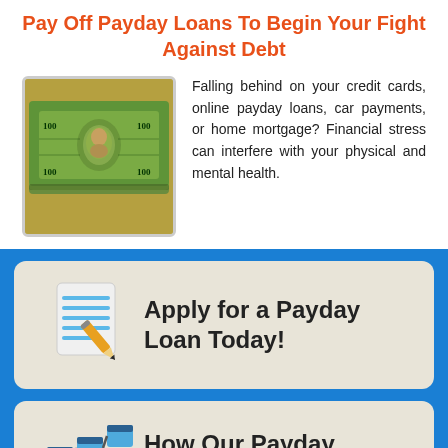Pay Off Payday Loans To Begin Your Fight Against Debt
[Figure (photo): Stack of US dollar bills fanned out]
Falling behind on your credit cards, online payday loans, car payments, or home mortgage? Financial stress can interfere with your physical and mental health.
Apply for a Payday Loan Today!
How Our Payday Loan Process Works